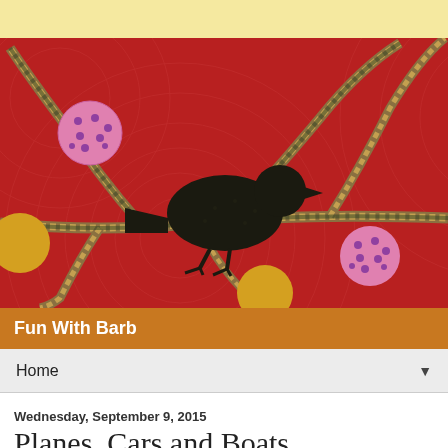[Figure (photo): Close-up photograph of a quilt featuring a black bird silhouette appliquéd on a red background with braided vine branches and pink/yellow polka-dot circle appliqués, with circular quilting stitches visible throughout.]
Fun With Barb
Home
Wednesday, September 9, 2015
Planes, Cars and Boats